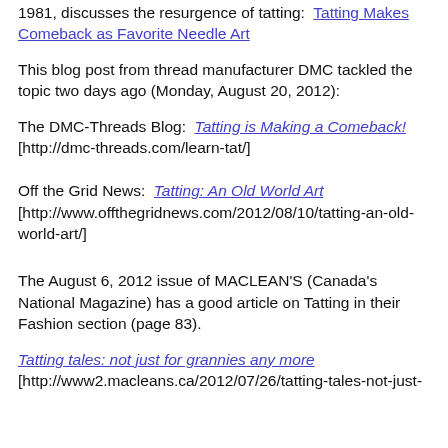1981, discusses the resurgence of tatting:  Tatting Makes Comeback as Favorite Needle Art
This blog post from thread manufacturer DMC tackled the topic two days ago (Monday, August 20, 2012):
The DMC-Threads Blog:  Tatting is Making a Comeback! [http://dmc-threads.com/learn-tat/]
Off the Grid News:  Tatting: An Old World Art [http://www.offthegridnews.com/2012/08/10/tatting-an-old-world-art/]
The August 6, 2012 issue of MACLEAN'S (Canada's National Magazine) has a good article on Tatting in their Fashion section (page 83).
Tatting tales: not just for grannies any more [http://www2.macleans.ca/2012/07/26/tatting-tales-not-just-